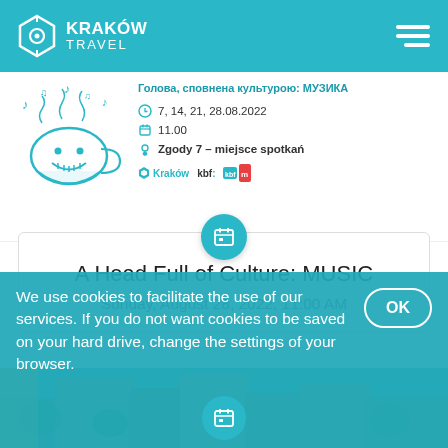KRAKÓW TRAVEL
[Figure (illustration): Cartoon illustration of a head/cup with musical notes floating above it, in blue tones]
Голова, сповнена культурою: МУЗИКА
7, 14, 21, 28.08.2022
11.00
Zgody 7 – miejsce spotkań
[Figure (logo): Kraków city logo, kbf logo, and another sponsor logo]
A Head Full of Culture: MUSIC
Sunday, August 28, 2022, 11:00 AM
[Figure (photo): Street/urban scene photo strip at bottom of page]
We use cookies to facilitate the use of our services. If you do not want cookies to be saved on your hard drive, change the settings of your browser.